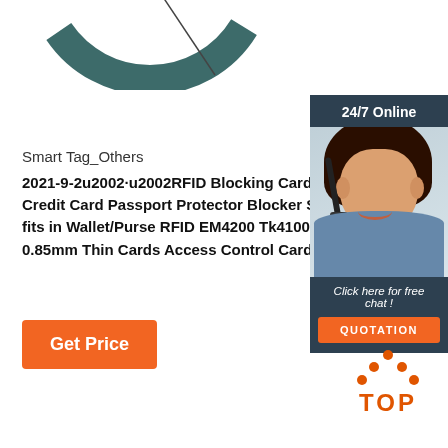[Figure (illustration): Partial circle/donut chart graphic visible at top center of page, dark teal and white colors]
Smart Tag_Others
2021-9-2u2002·u2002RFID Blocking Cards Contact Credit Card Passport Protector Blocker Smart Slim fits in Wallet/Purse RFID EM4200 Tk4100 125khz P 0.85mm Thin Cards Access Control Card
[Figure (photo): 24/7 Online chat panel with photo of smiling woman with headset, dark blue/teal background, with 'Click here for free chat!' text and orange QUOTATION button]
[Figure (logo): Orange TOP logo with dots forming an arrow/triangle shape above the word TOP]
Get Price